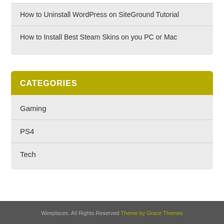How to Uninstall WordPress on SiteGround Tutorial
How to Install Best Steam Skins on you PC or Mac
CATEGORIES
Gaming
PS4
Tech
Weeplaces. All Rights Reserved Theme by Grace Themes